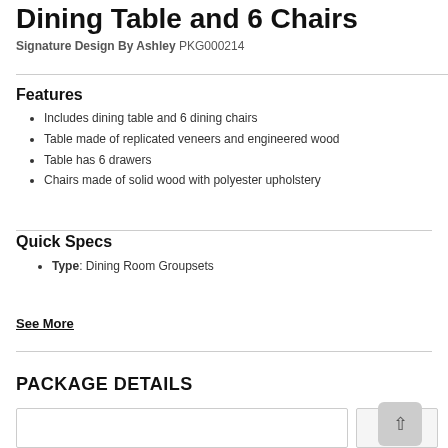Dining Table and 6 Chairs
Signature Design By Ashley PKG000214
Features
Includes dining table and 6 dining chairs
Table made of replicated veneers and engineered wood
Table has 6 drawers
Chairs made of solid wood with polyester upholstery
Quick Specs
Type: Dining Room Groupsets
See More
PACKAGE DETAILS